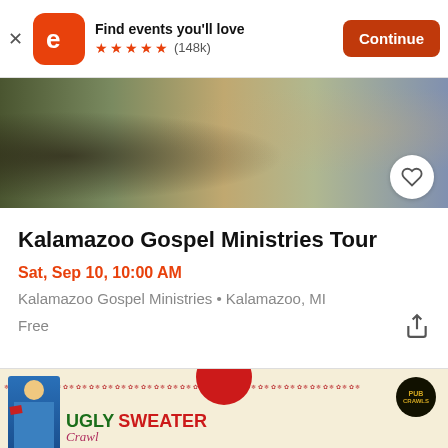Find events you'll love ★★★★★ (148k)  Continue
[Figure (photo): Event photo showing food service/buffet table with people in background]
Kalamazoo Gospel Ministries Tour
Sat, Sep 10, 10:00 AM
Kalamazoo Gospel Ministries • Kalamazoo, MI
Free
[Figure (illustration): Ugly Sweater Crawl advertisement banner with person in ugly sweater, Pub Crawls badge, decorative holiday border, text: UGLY SWEATER Crawl]